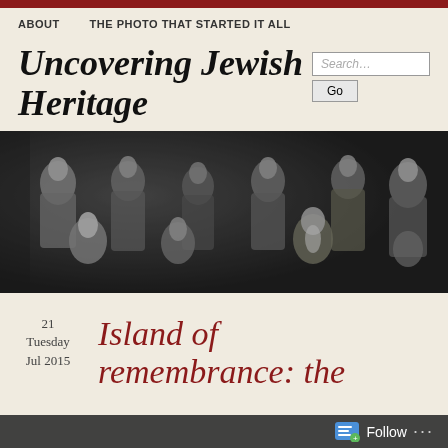ABOUT   THE PHOTO THAT STARTED IT ALL
Uncovering Jewish Heritage
[Figure (photo): Black and white vintage group photo of approximately 8-9 people, men and women, posing together in formal attire from the early 20th century.]
21
Tuesday
Jul 2015
Island of remembrance: the